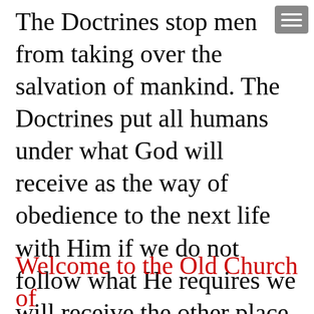The Doctrines stop men from taking over the salvation of mankind. The Doctrines put all humans under what God will receive as the way of obedience to the next life with Him if we do not follow what He requires we will receive the other place called HELL.
Welcome to the Old Church of